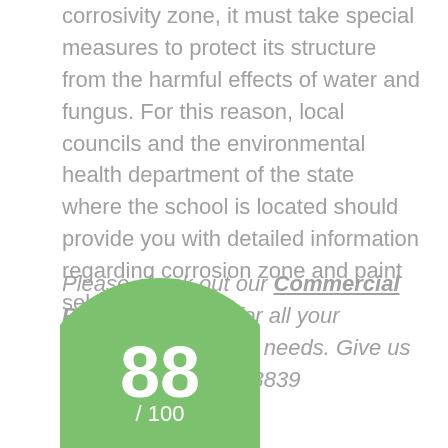corrosivity zone, it must take special measures to protect its structure from the harmful effects of water and fungus. For this reason, local councils and the environmental health department of the state where the school is located should provide you with detailed information regarding corrosion zone and paint selection.
Please check out our Commercial Painting service for all your commercial painting needs. Give us a call at: (706) 222-3839
[Figure (other): A green circle showing a score of 88 out of 100, partially visible at the bottom of the page.]